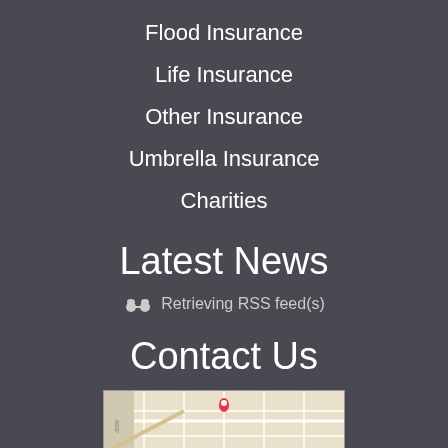Flood Insurance
Life Insurance
Other Insurance
Umbrella Insurance
Charities
Latest News
Retrieving RSS feed(s)
Contact Us
[Figure (map): Embedded map showing a local location with a red pin marker]